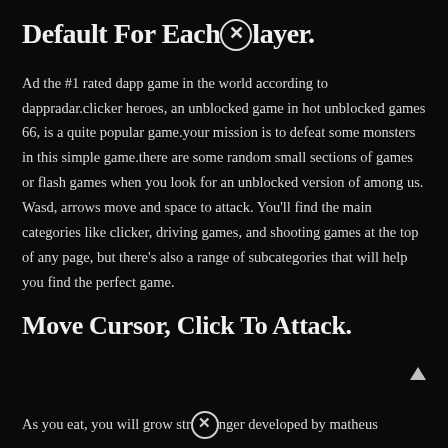Default For Each Player.
Ad the #1 rated dapp game in the world according to dappradar.clicker heroes, an unblocked game in hot unblocked games 66, is a quite popular game.your mission is to defeat some monsters in this simple game.there are some random small sections of games or flash games when you look for an unblocked version of among us. Wasd, arrows move and space to attack. You'll find the main categories like clicker, driving games, and shooting games at the top of any page, but there's also a range of subcategories that will help you find the perfect game.
Move Cursor, Click To Attack.
As you eat, you will grow stronger developed by matheus